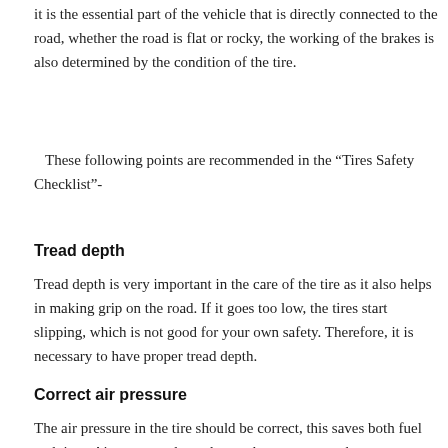it is the essential part of the vehicle that is directly connected to the road, whether the road is flat or rocky, the working of the brakes is also determined by the condition of the tire.
These following points are recommended in the “Tires Safety Checklist”-
Tread depth
Tread depth is very important in the care of the tire as it also helps in making grip on the road. If it goes too low, the tires start slipping, which is not good for your own safety. Therefore, it is necessary to have proper tread depth.
Correct air pressure
The air pressure in the tire should be correct, this saves both fuel and time. Air pressure depends on where you want the